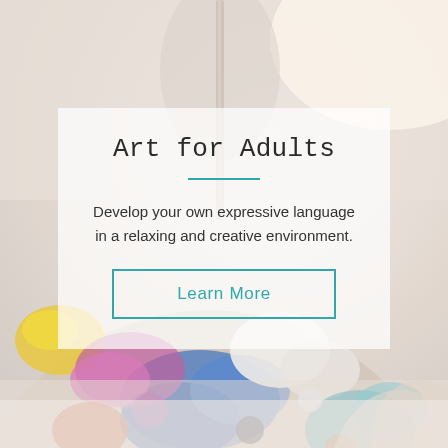[Figure (photo): Close-up photo of a person holding a paintbrush, painting on an artist's palette covered in colorful paint (blues, purples, yellows, reds, whites). The background is blurred and light-toned.]
Art for Adults
Develop your own expressive language in a relaxing and creative environment.
Learn More